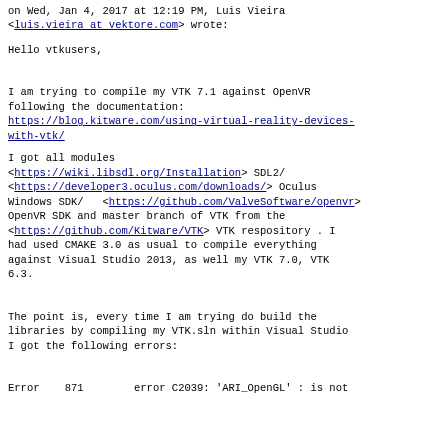on Wed, Jan 4, 2017 at 12:19 PM, Luis Vieira <luis.vieira at vektore.com> wrote:
Hello vtkusers,
I am trying to compile my VTK 7.1 against OpenVR following the documentation:
https://blog.kitware.com/using-virtual-reality-devices-with-vtk/
I got all modules <https://wiki.libsdl.org/Installation> SDL2/ <https://developer3.oculus.com/downloads/> Oculus Windows SDK/  <https://github.com/ValveSoftware/openvr> OpenVR SDK and master branch of VTK from the <https://github.com/Kitware/VTK> VTK respository . I had used CMAKE 3.0 as usual to compile everything against Visual Studio 2013, as well my VTK 7.0, VTK 6.3.
The point is, every time I am trying do build the libraries by compiling my VTK.sln within Visual Studio I got the following errors:
Error   871       error C2039: 'ARI_OpenGL' : is not